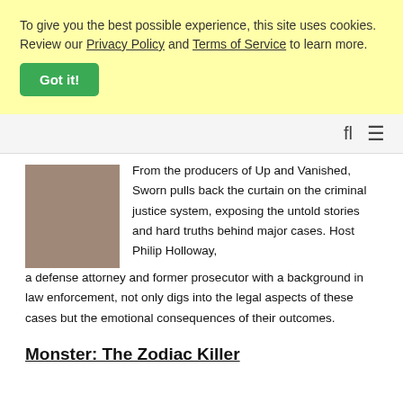To give you the best possible experience, this site uses cookies. Review our Privacy Policy and Terms of Service to learn more.
Got it!
[Figure (other): Toolbar with search and menu icons]
From the producers of Up and Vanished, Sworn pulls back the curtain on the criminal justice system, exposing the untold stories and hard truths behind major cases. Host Philip Holloway, a defense attorney and former prosecutor with a background in law enforcement, not only digs into the legal aspects of these cases but the emotional consequences of their outcomes.
Monster: The Zodiac Killer